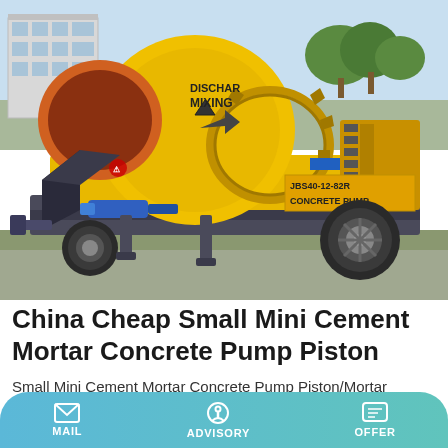[Figure (photo): Yellow concrete mixer pump machine (JBS40-12-82R CONCRETE PUMP) with large mixing drum labeled DISCHAR MIXING, blue hydraulic cylinder, large tires, on a flatbed trailer, photographed outdoors with a building and trees in the background.]
China Cheap Small Mini Cement Mortar Concrete Pump Piston
Small Mini Cement Mortar Concrete Pump Piston/Mortar Grouting Machine/Grouting Pump. The concrete mixer pump is invented and produced in China.it delivers large aggregate concrete, which is suitable for rural construction.
MAIL   ADVISORY   OFFER